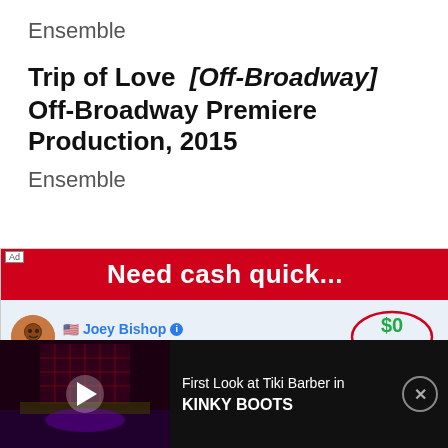Ensemble
Trip of Love  [Off-Broadway]
Off-Broadway Premiere Production, 2015
Ensemble
[Figure (screenshot): Ad banner for a mobile game showing 'Need cash quick...' with user Joey Bishop (University Student) having $0 Bank Balance, and a CRIME option in the game interface]
[Figure (screenshot): Video bar at bottom showing 'First Look at Tiki Barber in KINKY BOOTS' with a dark theater stage thumbnail and play button]